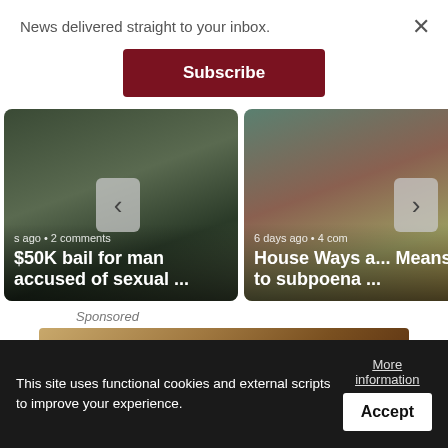News delivered straight to your inbox.
Subscribe
[Figure (photo): News card: handcuffs photo with text '$50K bail for man accused of sexual ...' and metadata 's ago • 2 comments']
[Figure (photo): News card: person photo with text 'House Ways a... Means to subpoena ...' and metadata '6 days ago • 4 com']
Sponsored
[Figure (photo): Sponsored image strip — brown/tan textured background]
This site uses functional cookies and external scripts to improve your experience.
More information
Accept